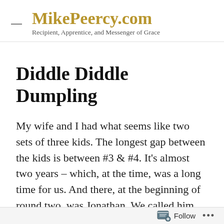MikePeercy.com — Recipient, Apprentice, and Messenger of Grace
Diddle Diddle Dumpling
My wife and I had what seems like two sets of three kids. The longest gap between the kids is between #3 & #4. It's almost two years – which, at the time, was a long time for us. And there, at the beginning of round two, was Jonathan. We called him Scrawny Jonny for a
Follow